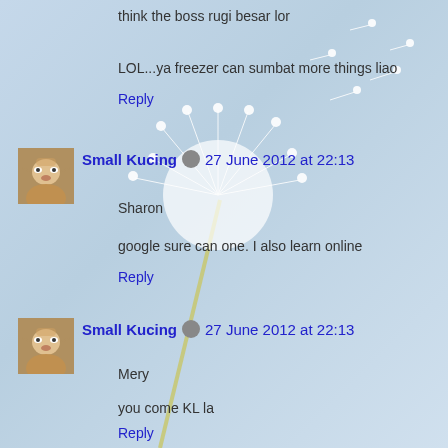think the boss rugi besar lor
LOL...ya freezer can sumbat more things liao
Reply
Small Kucing  27 June 2012 at 22:13
Sharon
google sure can one. I also learn online
Reply
Small Kucing  27 June 2012 at 22:13
Mery
you come KL la
Reply